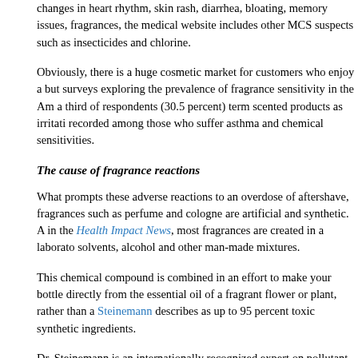changes in heart rhythm, skin rash, diarrhea, bloating, memory issues, fragrances, the medical website includes other MCS suspects such as insecticides and chlorine.
Obviously, there is a huge cosmetic market for customers who enjoy a but surveys exploring the prevalence of fragrance sensitivity in the Am a third of respondents (30.5 percent) term scented products as irritati recorded among those who suffer asthma and chemical sensitivities.
The cause of fragrance reactions
What prompts these adverse reactions to an overdose of aftershave, fragrances such as perfume and cologne are artificial and synthetic. A in the Health Impact News, most fragrances are created in a laborato solvents, alcohol and other man-made mixtures.
This chemical compound is combined in an effort to make your bottle directly from the essential oil of a fragrant flower or plant, rather than a Steinemann describes as up to 95 percent toxic synthetic ingredients.
Dr. Steinemann is an internationally recognized expert on pollutant ex effects. She is the former program manager at the Scripps Institution o and was a professor of civil and environmental engineering and a pro University of Washington.